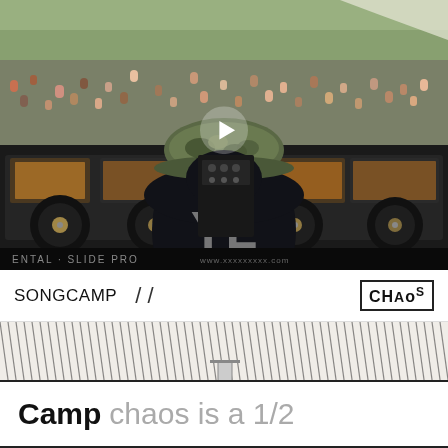[Figure (photo): A DJ in a camouflage hat and black hoodie with 'YL' logo faces away from camera toward a massive outdoor festival crowd. DJ equipment visible in foreground. A white play button overlay is visible in the center of the image.]
[Figure (illustration): Songcamp and Chaos branding panel. Shows 'SONGCAMP' text on the left, diagonal stylized line art in the center/background, and a 'CHAoS' logo badge on the right. Below is a white banner with text 'Camp chaos is a 1/2' where 'Camp' is in bold black and 'chaos is a 1/2' is in gray.]